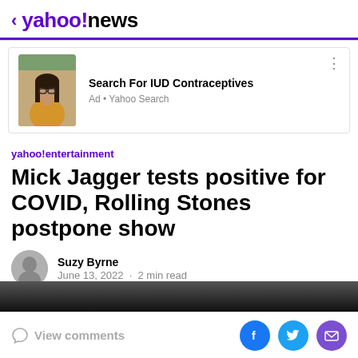< yahoo!news
[Figure (photo): Ad banner with photo of a young woman with long dark hair wearing a yellow/orange top, outdoors. Ad title: Search For IUD Contraceptives. Ad source: Yahoo Search.]
Search For IUD Contraceptives
Ad • Yahoo Search
yahoo!entertainment
Mick Jagger tests positive for COVID, Rolling Stones postpone show
Suzy Byrne
June 13, 2022 · 2 min read
View comments